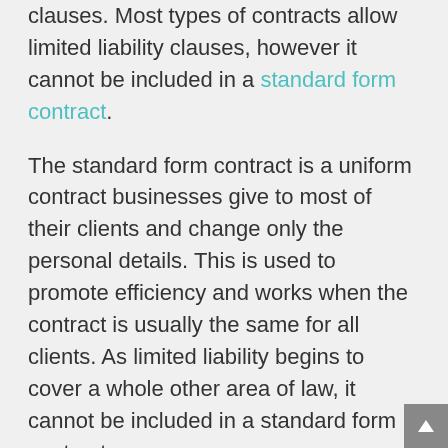clauses. Most types of contracts allow limited liability clauses, however it cannot be included in a standard form contract.
The standard form contract is a uniform contract businesses give to most of their clients and change only the personal details. This is used to promote efficiency and works when the contract is usually the same for all clients. As limited liability begins to cover a whole other area of law, it cannot be included in a standard form contract.
A limited liability clause, in its most basic terms, can read somewhat like this: